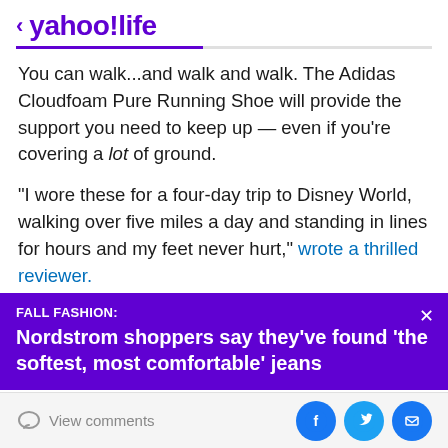< yahoo!life
You can walk...and walk and walk. The Adidas Cloudfoam Pure Running Shoe will provide the support you need to keep up — even if you're covering a lot of ground.
“I wore these for a four-day trip to Disney World, walking over five miles a day and standing in lines for hours and my feet never hurt,” wrote a thrilled reviewer.
“I promptly wore these for three days straight at Disneyland after only wearing them for about a week
[Figure (infographic): Purple promotional banner overlay: FALL FASHION: Nordstrom shoppers say they've found 'the softest, most comfortable' jeans]
View comments [Facebook] [Twitter] [Email]